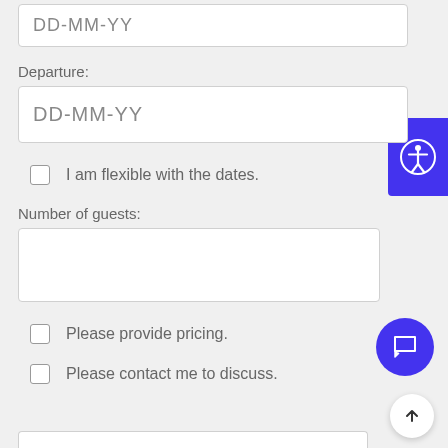DD-MM-YY
Departure:
DD-MM-YY
I am flexible with the dates.
Number of guests:
Please provide pricing.
Please contact me to discuss.